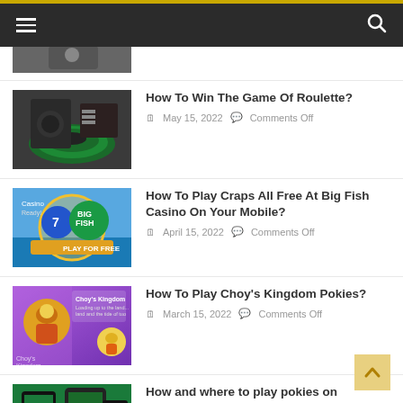Navigation bar with hamburger menu and search icon
[Figure (photo): Partial thumbnail of a person holding a phone]
How To Win The Game Of Roulette?
May 15, 2022  Comments Off
[Figure (photo): Live dealer roulette table with woman in black dress]
How To Play Craps All Free At Big Fish Casino On Your Mobile?
April 15, 2022  Comments Off
[Figure (photo): Big Fish Casino app screenshot with 'Play For Free' banner]
How To Play Choy's Kingdom Pokies?
March 15, 2022  Comments Off
[Figure (photo): Choy's Kingdom pokies game with colorful character on purple background]
How and where to play pokies on Blackberry with real AUD?
[Figure (photo): Blackberry phones showing casino/pokies app on green background]